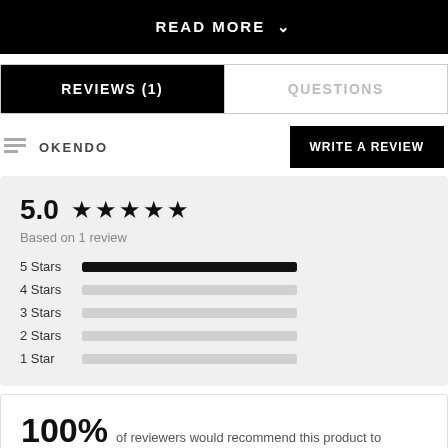READ MORE ˅
REVIEWS (1)
QUESTIONS
OKENDO
WRITE A REVIEW
[Figure (other): Star rating summary: 5.0 out of 5 stars, based on 1 review, with bar chart showing 5 Stars (full), 4 Stars (empty), 3 Stars (empty), 2 Stars (empty), 1 Star (empty)]
100% of reviewers would recommend this product to